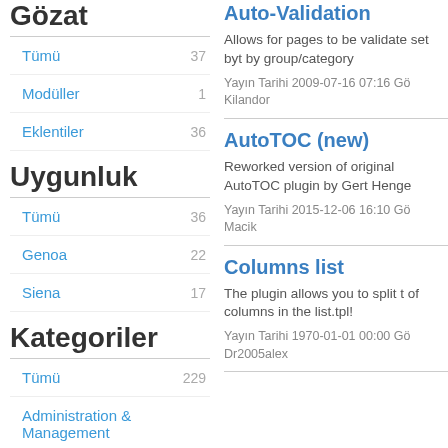Gözat
Tümü 37
Modüller 1
Eklentiler 36
Uygunluk
Tümü 36
Genoa 22
Siena 17
Kategoriler
Tümü 229
Administration & Management
Commerce & Shopping 12 8
Community & Social 48
Customization & I18n 8
Auto-Validation
Allows for pages to be validate set byt by group/category
Yayın Tarihi 2009-07-16 07:16 Gö Kilandor
AutoTOC (new)
Reworked version of original AutoTOC plugin by Gert Henge
Yayın Tarihi 2015-12-06 16:10 Gö Macik
Columns list
The plugin allows you to split t of columns in the list.tpl!
Yayın Tarihi 1970-01-01 00:00 Gö Dr2005alex